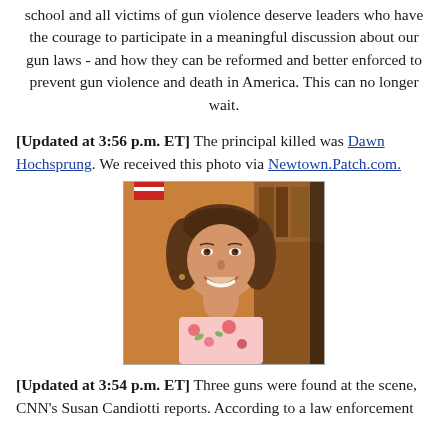school and all victims of gun violence deserve leaders who have the courage to participate in a meaningful discussion about our gun laws - and how they can be reformed and better enforced to prevent gun violence and death in America. This can no longer wait.
[Updated at 3:56 p.m. ET] The principal killed was Dawn Hochsprung. We received this photo via Newtown.Patch.com.
[Figure (photo): Portrait photo of Dawn Hochsprung, a woman with short brown hair pulled back, smiling, wearing a floral top. Photo courtesy Newtown Patch.]
[Updated at 3:54 p.m. ET] Three guns were found at the scene, CNN's Susan Candiotti reports. According to a law enforcement